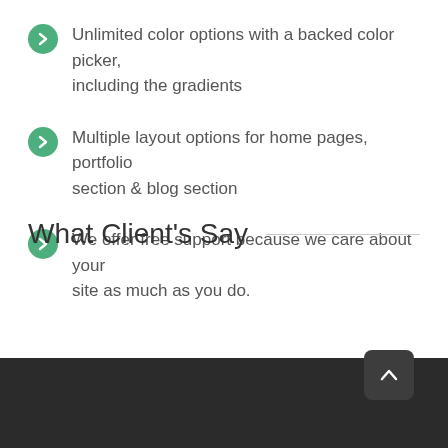Unlimited color options with a backed color picker, including the gradients
Multiple layout options for home pages, portfolio section & blog section
We offer free support because we care about your site as much as you do.
What Client's Say
[Figure (other): Dark footer bar with a rounded square scroll-to-top button containing an upward chevron arrow]